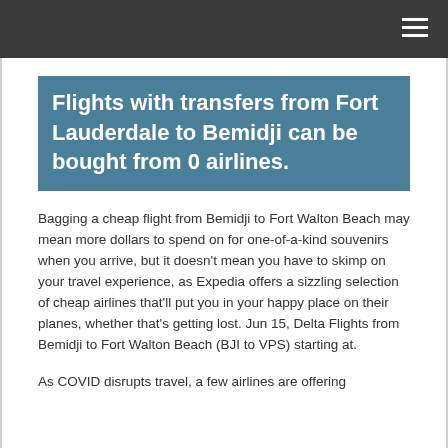Flights with transfers from Fort Lauderdale to Bemidji can be bought from 0 airlines.
Bagging a cheap flight from Bemidji to Fort Walton Beach may mean more dollars to spend on for one-of-a-kind souvenirs when you arrive, but it doesn't mean you have to skimp on your travel experience, as Expedia offers a sizzling selection of cheap airlines that'll put you in your happy place on their planes, whether that's getting lost. Jun 15, Delta Flights from Bemidji to Fort Walton Beach (BJI to VPS) starting at.
As COVID disrupts travel, a few airlines are offering